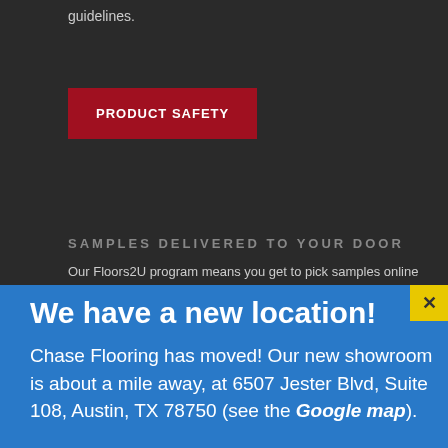guidelines.
PRODUCT SAFETY
SAMPLES DELIVERED TO YOUR DOOR
Our Floors2U program means you get to pick samples online
We have a new location!
Chase Flooring has moved! Our new showroom is about a mile away, at 6507 Jester Blvd, Suite 108, Austin, TX 78750 (see the Google map).